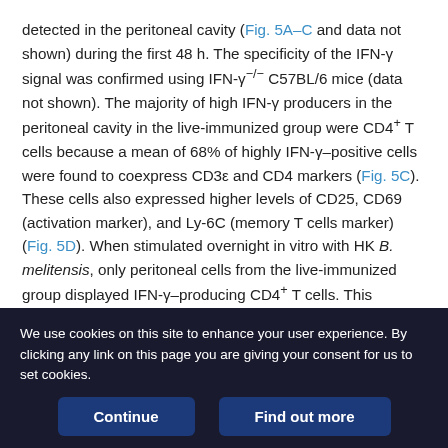detected in the peritoneal cavity (Fig. 5A–C and data not shown) during the first 48 h. The specificity of the IFN-γ signal was confirmed using IFN-γ−/− C57BL/6 mice (data not shown). The majority of high IFN-γ producers in the peritoneal cavity in the live-immunized group were CD4+ T cells because a mean of 68% of highly IFN-γ–positive cells were found to coexpress CD3ε and CD4 markers (Fig. 5C). These cells also expressed higher levels of CD25, CD69 (activation marker), and Ly-6C (memory T cells marker) (Fig. 5D). When stimulated overnight in vitro with HK B. melitensis, only peritoneal cells from the live-immunized group displayed IFN-γ–producing CD4+ T cells. This demonstrates that this group contained Brucella-specific memory CD4+ T cells in the peritoneal cavity before challenge (Supplemental Fig. 3). As
We use cookies on this site to enhance your user experience. By clicking any link on this page you are giving your consent for us to set cookies.